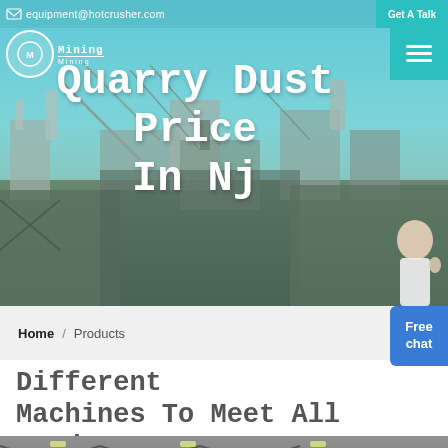equipment@hotcrusher.com   Get A Talk
[Figure (photo): Hero banner with quarry/mining industrial site background, cranes and processing equipment visible, teal/blue sky. Logo with mining icon top left, hamburger menu top right in teal. Person in white jacket bottom right.]
Quarry Dust Price In Nj
Home / Products
Free chat
Different Machines To Meet All Need
[Figure (photo): Interior of a large industrial factory/warehouse with steel roof trusses, fluorescent lighting, and heavy machinery on the factory floor.]